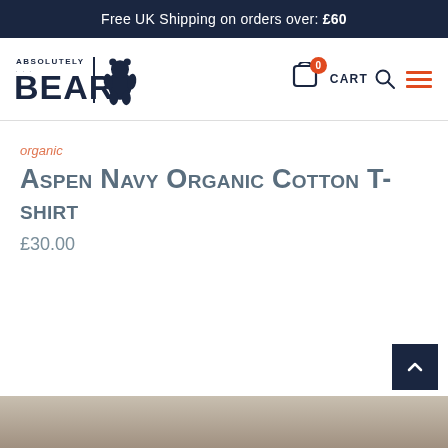Free UK Shipping on orders over: £60
[Figure (logo): Absolutely Bear logo with bear silhouette]
0 CART
organic
Aspen Navy Organic Cotton T-shirt
£30.00